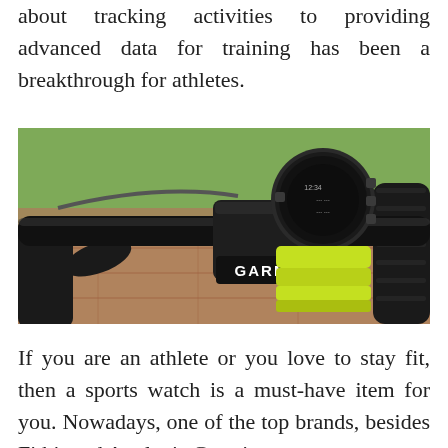about tracking activities to providing advanced data for training has been a breakthrough for athletes.
[Figure (photo): A Garmin sports watch mounted on bicycle handlebars with a yellow-green strap and a 'GARMIN' branded mount, outdoors with green grass in background.]
If you are an athlete or you love to stay fit, then a sports watch is a must-have item for you. Nowadays, one of the top brands, besides Fitbit and Apple, is Garmin.